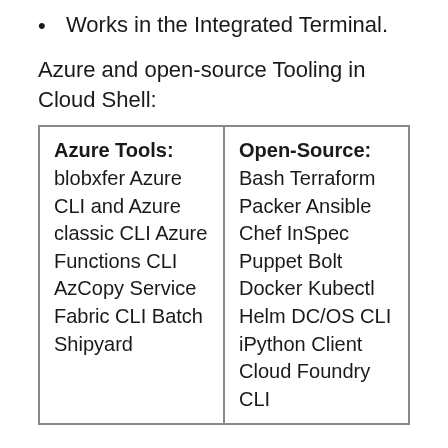Works in the Integrated Terminal.
Azure and open-source Tooling in Cloud Shell:
| Azure Tools: | Open-Source: |
| --- | --- |
| blobxfer Azure CLI and Azure classic CLI Azure Functions CLI AzCopy Service Fabric CLI Batch Shipyard | Bash Terraform Packer Ansible Chef InSpec Puppet Bolt Docker Kubectl Helm DC/OS CLI iPython Client Cloud Foundry CLI |
PowerShell Modules in Cloud Shell